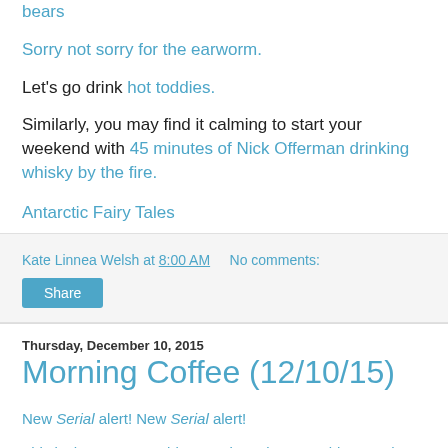bears
Sorry not sorry for the earworm.
Let's go drink hot toddies.
Similarly, you may find it calming to start your weekend with 45 minutes of Nick Offerman drinking whisky by the fire.
Antarctic Fairy Tales
Kate Linnea Welsh at 8:00 AM    No comments:
Share
Thursday, December 10, 2015
Morning Coffee (12/10/15)
New Serial alert! New Serial alert!
This is the most Donald Trump interview Donald Trump has